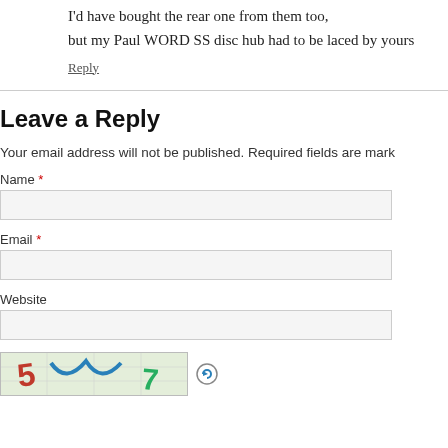I'd have bought the rear one from them too, but my Paul WORD SS disc hub had to be laced by yours
Reply
Leave a Reply
Your email address will not be published. Required fields are mark
Name *
Email *
Website
[Figure (other): CAPTCHA image with colorful letters and numbers (5, blue squiggle, 7) and a refresh icon]